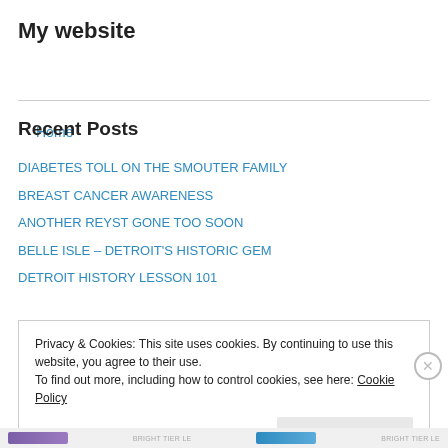My website
Home
Recent Posts
DIABETES TOLL ON THE SMOUTER FAMILY
BREAST CANCER AWARENESS
ANOTHER REYST GONE TOO SOON
BELLE ISLE – DETROIT'S HISTORIC GEM
DETROIT HISTORY LESSON 101
Privacy & Cookies: This site uses cookies. By continuing to use this website, you agree to their use. To find out more, including how to control cookies, see here: Cookie Policy
Close and accept